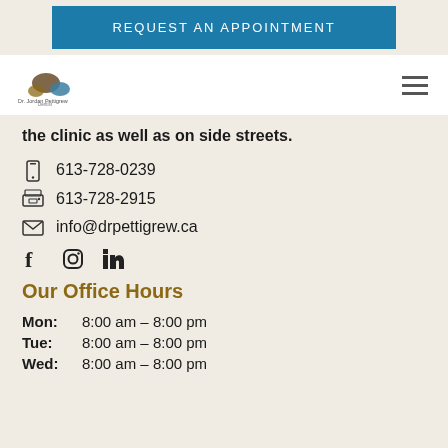REQUEST AN APPOINTMENT
[Figure (logo): Dr. Jordan Pettigrew logo with bird/stones graphic]
the clinic as well as on side streets.
613-728-0239
613-728-2915
info@drpettigrew.ca
[Figure (other): Social media icons: Facebook, Instagram, LinkedIn]
Our Office Hours
| Mon: | 8:00 am – 8:00 pm |
| Tue: | 8:00 am – 8:00 pm |
| Wed: | 8:00 am – 8:00 pm |